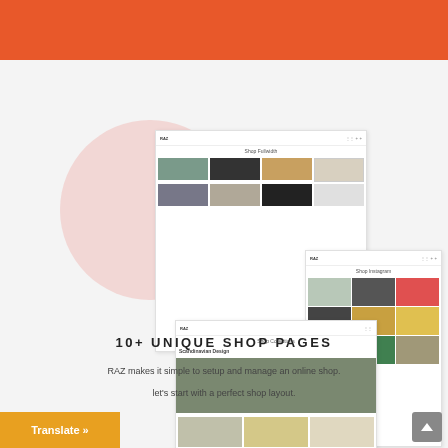[Figure (screenshot): Orange header bar at top of page]
[Figure (screenshot): Three overlapping screenshots of RAZ furniture e-commerce website showing shop pages: product listing page, shop collections page with Scandinavian Design section, and shop Instagram page with photo grid. Shown on light gray background with pink decorative circle.]
10+ UNIQUE SHOP PAGES
RAZ makes it simple to setup and manage an online shop.
let's start with a perfect shop layout.
[Figure (screenshot): Orange Translate button at bottom left]
[Figure (screenshot): Gray scroll-to-top button at bottom right]